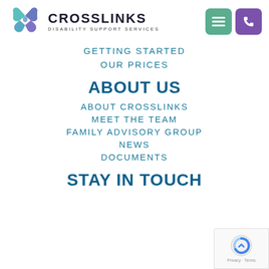[Figure (logo): Crosslinks Disability Support Services logo with heart/ribbon SVG icon and text]
GETTING STARTED
OUR PRICES
ABOUT US
ABOUT CROSSLINKS
MEET THE TEAM
FAMILY ADVISORY GROUP
NEWS
DOCUMENTS
STAY IN TOUCH
[Figure (other): reCAPTCHA badge with Privacy and Terms links]